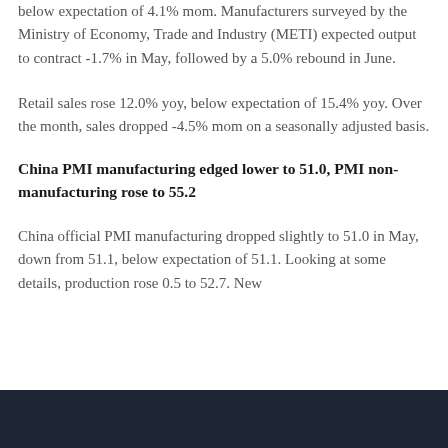below expectation of 4.1% mom. Manufacturers surveyed by the Ministry of Economy, Trade and Industry (METI) expected output to contract -1.7% in May, followed by a 5.0% rebound in June.
Retail sales rose 12.0% yoy, below expectation of 15.4% yoy. Over the month, sales dropped -4.5% mom on a seasonally adjusted basis.
China PMI manufacturing edged lower to 51.0, PMI non-manufacturing rose to 55.2
China official PMI manufacturing dropped slightly to 51.0 in May, down from 51.1, below expectation of 51.1. Looking at some details, production rose 0.5 to 52.7. New orders rose to 51.0 and ll…